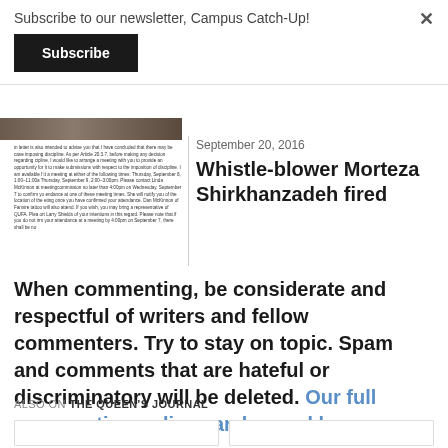Subscribe to our newsletter, Campus Catch-Up!
Subscribe
in letter is also intended to advise you that I have concluded that there may be case imposing discipline. As per Article 20.3.7, before making any decision regarding cipline, I would like to arrange a meeting with you to provide an opportunity for it to make submissions with respect to the imposition of discipline. I am available f it a meeting at either of the following times: Thursday, September 8, 1:00–11:00a Thursday, September 9, 2:00-3:00pm. Please contact Linda McKinnon at meetingcommission no later than 4:00pm on Wednesday, September 7 to confirm yo endance at one of these meeting times. She will notify you of the location of the eting once you have confirmed your attendance. Dan McKinnon of Fansire tattoo will also attend. If you wish, you may bring a representative of QUFA. Plea ort Larry Shields of your intentions in this regard. Please note that if you do not irm your attendance at a meeting by 4:00pm on September 7, there shall be no
September 20, 2016
Whistle-blower Morteza Shirkhanzadeh fired
When commenting, be considerate and respectful of writers and fellow commenters. Try to stay on topic. Spam and comments that are hateful or discriminatory will be deleted. Our full commenting policy can be read here.
ALSO ON THE QUEEN'S JOURNAL